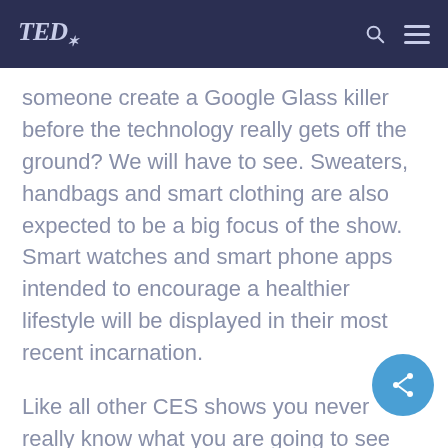TED
someone create a Google Glass killer before the technology really gets off the ground? We will have to see. Sweaters, handbags and smart clothing are also expected to be a big focus of the show. Smart watches and smart phone apps intended to encourage a healthier lifestyle will be displayed in their most recent incarnation.
Like all other CES shows you never really know what you are going to see until you get there. Let's hope for some awesome.